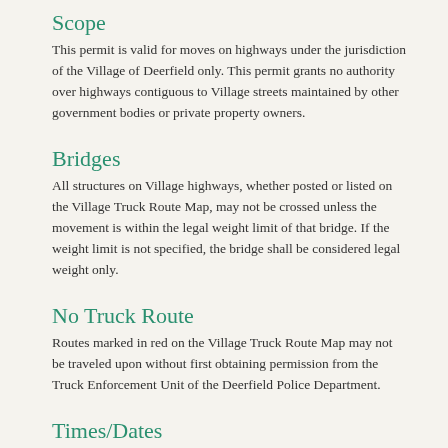Scope
This permit is valid for moves on highways under the jurisdiction of the Village of Deerfield only. This permit grants no authority over highways contiguous to Village streets maintained by other government bodies or private property owners.
Bridges
All structures on Village highways, whether posted or listed on the Village Truck Route Map, may not be crossed unless the movement is within the legal weight limit of that bridge. If the weight limit is not specified, the bridge shall be considered legal weight only.
No Truck Route
Routes marked in red on the Village Truck Route Map may not be traveled upon without first obtaining permission from the Truck Enforcement Unit of the Deerfield Police Department.
Times/Dates